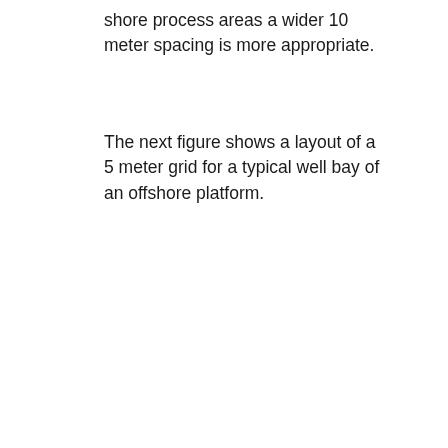shore process areas a wider 10 meter spacing is more appropriate.
The next figure shows a layout of a 5 meter grid for a typical well bay of an offshore platform.